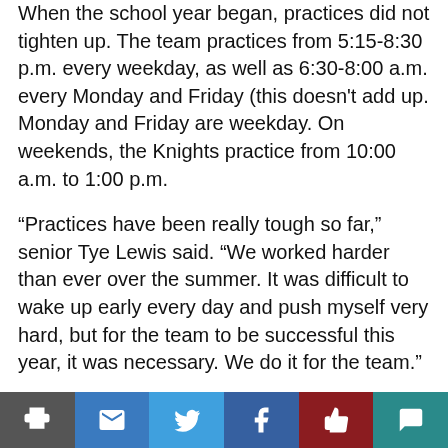When the school year began, practices did not tighten up. The team practices from 5:15-8:30 p.m. every weekday, as well as 6:30-8:00 a.m. every Monday and Friday (this doesn't add up. Monday and Friday are weekday. On weekends, the Knights practice from 10:00 a.m. to 1:00 p.m.
“Practices have been really tough so far,” senior Tye Lewis said. “We worked harder than ever over the summer. It was difficult to wake up early every day and push myself very hard, but for the team to be successful this year, it was necessary. We do it for the team.”
The team lost two starters from last season, junior Jermontae Hill and (other player). Hill, who generated interest from various Division I schools as a sophomore
social sharing bar: print, email, twitter, facebook, like, comment